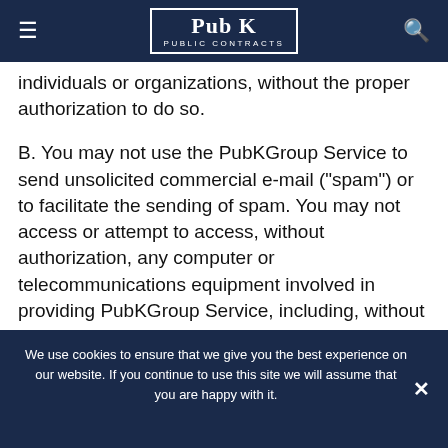Pub K PUBLIC CONTRACTS
individuals or organizations, without the proper authorization to do so.
B. You may not use the PubKGroup Service to send unsolicited commercial e-mail ("spam") or to facilitate the sending of spam. You may not access or attempt to access, without authorization, any computer or telecommunications equipment involved in providing PubKGroup Service, including, without limitation, the use of any robot, spider,
We use cookies to ensure that we give you the best experience on our website. If you continue to use this site we will assume that you are happy with it.